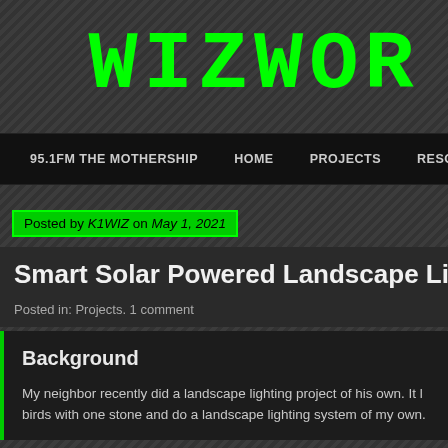WIZWOR
95.1FM THE MOTHERSHIP  HOME  PROJECTS  RESOU
Posted by K1WIZ on May 1, 2021
Smart Solar Powered Landscape Lig
Posted in: Projects. 1 comment
Background
My neighbor recently did a landscape lighting project of his own.  It l birds with one stone and do a landscape lighting system of my own.